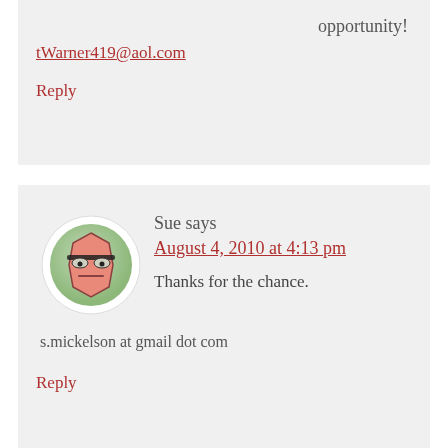opportunity!
tWarner419@aol.com
Reply
[Figure (illustration): Circular avatar icon with a cartoonish hexagonal face with sunglasses expression on a green background]
Sue says
August 4, 2010 at 4:13 pm
Thanks for the chance.
s.mickelson at gmail dot com
Reply